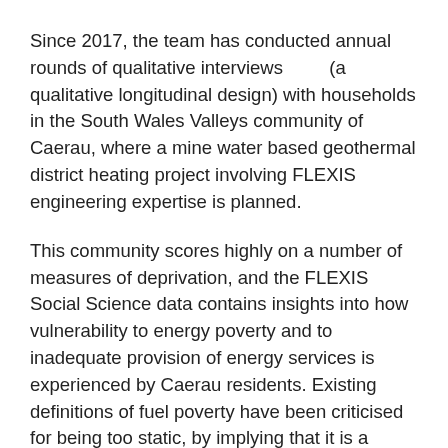Since 2017, the team has conducted annual rounds of qualitative interviews        (a qualitative longitudinal design) with households in the South Wales Valleys community of Caerau, where a mine water based geothermal district heating project involving FLEXIS engineering expertise is planned.
This community scores highly on a number of measures of deprivation, and the FLEXIS Social Science data contains insights into how vulnerability to energy poverty and to inadequate provision of energy services is experienced by Caerau residents. Existing definitions of fuel poverty have been criticised for being too static, by implying that it is a condition a household can easily be defined as suffering from or not. Research suggests, on the contrary, that the underlying problem that can lead